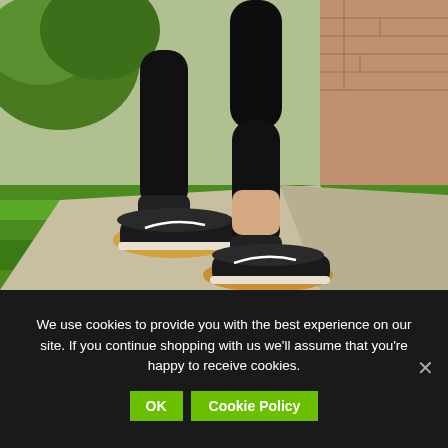[Figure (photo): Close-up photo of a person's legs in black capri leggings and black/tan Nike running shoes, jogging on a paved path surrounded by green grass and bushes.]
1. Your own fitness performance will be influenced by the level of your
We use cookies to provide you with the best experience on our site. If you continue shopping with us we'll assume that you're happy to receive cookies.